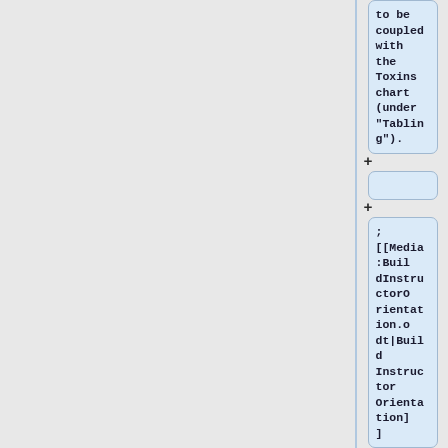to be coupled with the Toxins chart (under "Tabling").
+
; [[Media:BuildInstructorOrientation.odt|Build Instructor Orientation]]
+
: Checklist for new Build Instructors
+